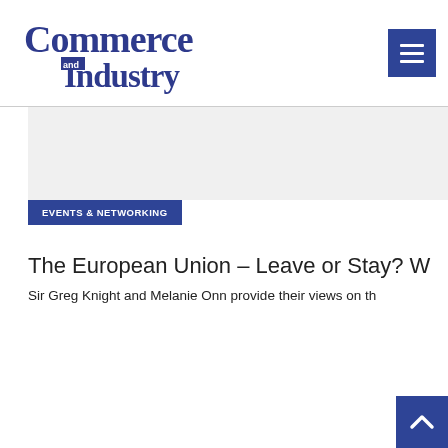Commerce and Industry
[Figure (logo): Commerce and Industry magazine logo in dark blue serif/display font]
[Figure (other): Hamburger menu button (three horizontal lines) on blue square background]
[Figure (other): Advertisement or placeholder grey area]
EVENTS & NETWORKING
The European Union – Leave or Stay? W n d
Sir Greg Knight and Melanie Onn provide their views on th